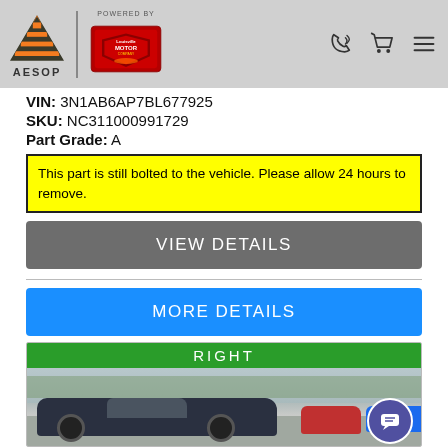[Figure (logo): AESOP logo with orange and dark triangle shapes and text AESOP, alongside Louisville Motor Company logo, and navigation icons (phone, cart, menu)]
VIN: 3N1AB6AP7BL677925
SKU: NC311000991729
Part Grade: A
This part is still bolted to the vehicle. Please allow 24 hours to remove.
VIEW DETAILS
MORE DETAILS
RIGHT
[Figure (photo): Photo of cars in a junkyard/salvage yard setting with trees in background, showing dark blue sedan in foreground, red car and blue car visible, outdoor lot.]